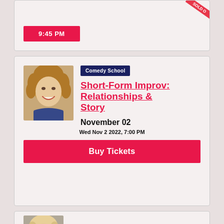9:45 PM
[Figure (photo): Portrait photo of a smiling woman with curly blonde hair wearing a dark blue top]
Comedy School
Short-Form Improv: Relationships & Story
November 02
Wed Nov 2 2022, 7:00 PM
Buy Tickets
[Figure (photo): Portrait photo of a woman with blonde hair, partially visible at bottom of page]